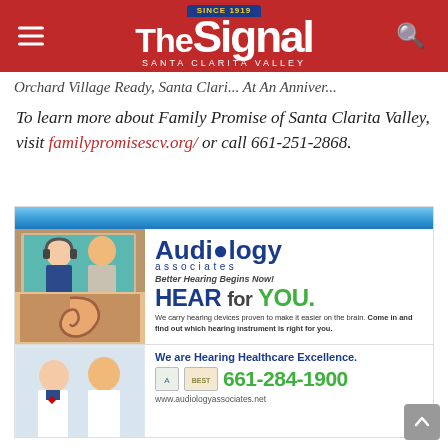The Signal – Santa Clarita Valley
Orchard Village Ready, Santa Clari... (truncated)
To learn more about Family Promise of Santa Clarita Valley, visit familypromisescv.org/ or call 661-251-2868.
[Figure (illustration): Audiology Associates advertisement. Shows audiologists with patient, ear image, logo 'Audiology associates – Better Hearing Begins Now!', tagline 'HEAR for YOU.', body text about hearing devices, phone number 661-284-1900, website www.audiologyassociates.net, and 'We are Hearing Healthcare Excellence.' Two doctors shown at bottom left. Badges displayed.]